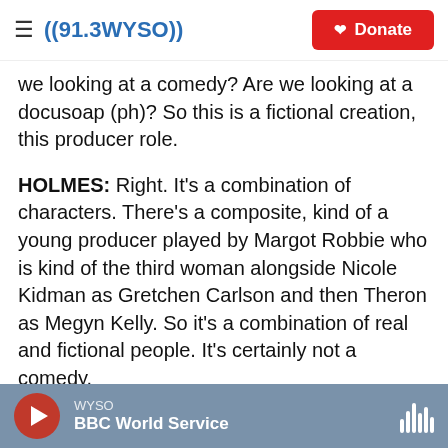((91.3 WYSO)) [Donate]
we looking at a comedy? Are we looking at a docusoap (ph)? So this is a fictional creation, this producer role.
HOLMES: Right. It's a combination of characters. There's a composite, kind of a young producer played by Margot Robbie who is kind of the third woman alongside Nicole Kidman as Gretchen Carlson and then Theron as Megyn Kelly. So it's a combination of real and fictional people. It's certainly not a comedy.
I think what they're trying to do is, you know, make one of those politics-as-drama stories. The trial is
WYSO — BBC World Service